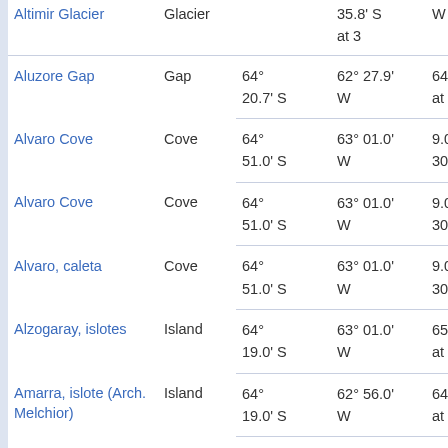| Name | Type | Latitude | Longitude | ... |
| --- | --- | --- | --- | --- |
| Altimir Glacier | Glacier | 35.8' S | W | at 3 |
| Aluzore Gap | Gap | 64° 20.7' S | 62° 27.9' W | 64.5 at 1 |
| Alvaro Cove | Cove | 64° 51.0' S | 63° 01.0' W | 9.0 308 |
| Alvaro Cove | Cove | 64° 51.0' S | 63° 01.0' W | 9.0 308 |
| Alvaro, caleta | Cove | 64° 51.0' S | 63° 01.0' W | 9.0 308 |
| Alzogaray, islotes | Island | 64° 19.0' S | 63° 01.0' W | 65.3 at 3 |
| Amarra, islote (Arch. Melchior) | Island | 64° 19.0' S | 62° 56.0' W | 64.5 at 3 |
| Amberes, isla | Island | 64° 30.0' S | 63° 30.0' W | 53.7 at 3 |